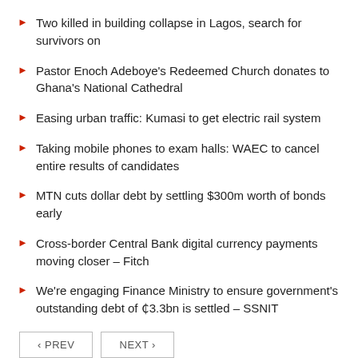Two killed in building collapse in Lagos, search for survivors on
Pastor Enoch Adeboye's Redeemed Church donates to Ghana's National Cathedral
Easing urban traffic: Kumasi to get electric rail system
Taking mobile phones to exam halls: WAEC to cancel entire results of candidates
MTN cuts dollar debt by settling $300m worth of bonds early
Cross-border Central Bank digital currency payments moving closer – Fitch
We're engaging Finance Ministry to ensure government's outstanding debt of ₵3.3bn is settled – SSNIT
‹ PREV   NEXT ›